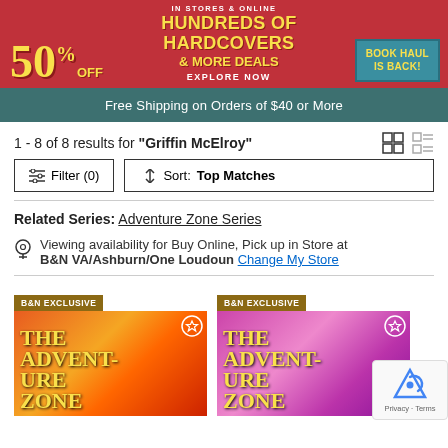[Figure (infographic): Red promotional banner: IN STORES & ONLINE 50% OFF HUNDREDS OF HARDCOVERS & MORE DEALS EXPLORE NOW, with BOOK HAUL IS BACK! badge in teal]
Free Shipping on Orders of $40 or More
1 - 8 of 8 results for "Griffin McElroy"
Filter (0)   Sort: Top Matches
Related Series: Adventure Zone Series
Viewing availability for Buy Online, Pick up in Store at B&N VA/Ashburn/One Loudoun Change My Store
[Figure (photo): Book cover: The Adventure Zone, B&N Exclusive badge]
[Figure (photo): Book cover: The Adventure Zone (second volume), B&N Exclusive badge]